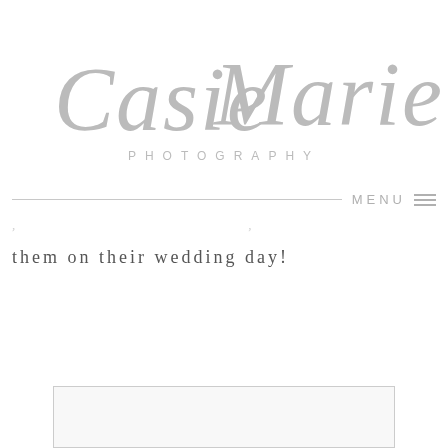[Figure (logo): Casie Marie Photography script logo in gray with 'PHOTOGRAPHY' in spaced uppercase letters below]
MENU ≡
them on their wedding day!